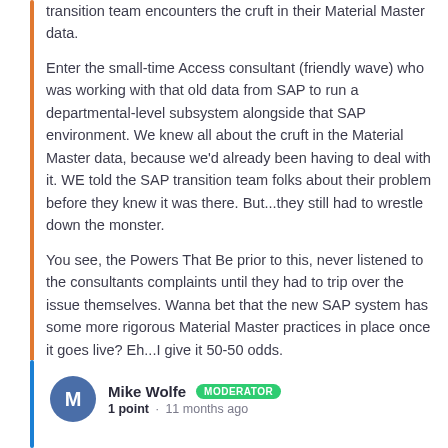transition team encounters the cruft in their Material Master data.
Enter the small-time Access consultant (friendly wave) who was working with that old data from SAP to run a departmental-level subsystem alongside that SAP environment. We knew all about the cruft in the Material Master data, because we'd already been having to deal with it. WE told the SAP transition team folks about their problem before they knew it was there. But...they still had to wrestle down the monster.
You see, the Powers That Be prior to this, never listened to the consultants complaints until they had to trip over the issue themselves. Wanna bet that the new SAP system has some more rigorous Material Master practices in place once it goes live? Eh...I give it 50-50 odds.
Mike Wolfe MODERATOR 1 point · 11 months ago